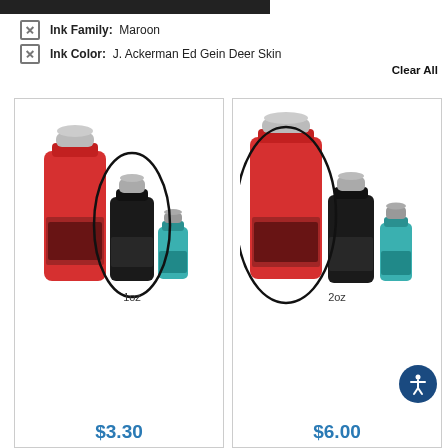Ink Family: Maroon
Ink Color: J. Ackerman Ed Gein Deer Skin
Clear All
[Figure (photo): Tattoo ink bottles set with a circle highlighting the 1oz bottle. Bottles include a large red bottle, a black bottle, and a small teal bottle. Label reads 1oz.]
$3.30
[Figure (photo): Tattoo ink bottles set with a circle highlighting the 2oz bottle. Bottles include a large red bottle, a black bottle, and a small teal bottle. Label reads 2oz.]
$6.00